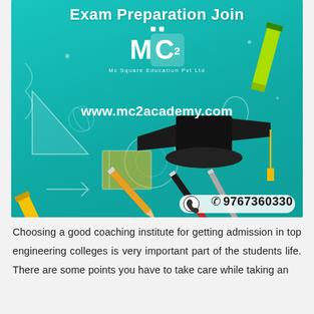Exam Preparation Join
[Figure (illustration): MC Square Education Pvt Ltd logo with graduation cap, pencils, highlighter markers, and decorative educational sketches on teal background. Website www.mc2academy.com shown. Phone number 9767360330 shown.]
Choosing a good coaching institute for getting admission in top engineering colleges is very important part of the students life. There are some points you have to take care while taking an